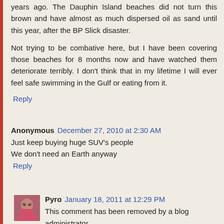years ago. The Dauphin Island beaches did not turn this brown and have almost as much dispersed oil as sand until this year, after the BP Slick disaster.
Not trying to be combative here, but I have been covering those beaches for 8 months now and have watched them deteriorate terribly. I don't think that in my lifetime I will ever feel safe swimming in the Gulf or eating from it.
Reply
Anonymous December 27, 2010 at 2:30 AM
Just keep buying huge SUV's people
We don't need an Earth anyway
Reply
[Figure (photo): Small avatar photo of user Pyro, showing a person with glasses and a pink/red shirt]
Pyro January 18, 2011 at 12:29 PM
This comment has been removed by a blog administrator.
Reply